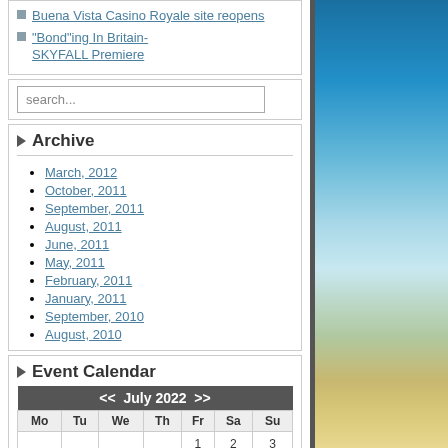Buena Vista Casino Royale site reopens
"Bond"ing In Britain- SKYFALL Premiere
search...
Archive
March, 2012
October, 2011
September, 2011
August, 2011
June, 2011
May, 2011
February, 2011
January, 2011
September, 2010
August, 2010
Event Calendar
| Mo | Tu | We | Th | Fr | Sa | Su |
| --- | --- | --- | --- | --- | --- | --- |
|  |  |  |  | 1 | 2 | 3 |